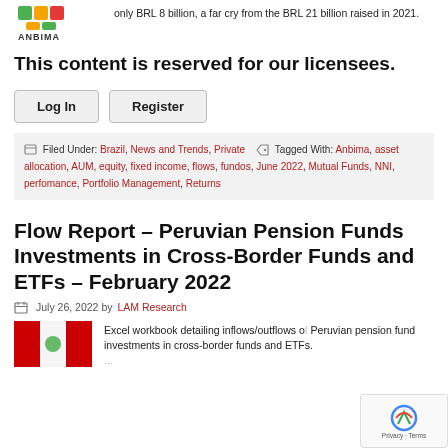[Figure (logo): ANBIMA logo with colorful graphic mark above text 'ANBIMA']
only BRL 8 billion, a far cry from the BRL 21 billion raised in 2021.
This content is reserved for our licensees.
Log In
Register
Filed Under: Brazil, News and Trends, Private  Tagged With: Anbima, asset allocation, AUM, equity, fixed income, flows, fundos, June 2022, Mutual Funds, NNI, perfomance, Portfolio Management, Returns
Flow Report – Peruvian Pension Funds Investments in Cross-Border Funds and ETFs – February 2022
July 26, 2022 by LAM Research
[Figure (logo): Peruvian flag colors logo placeholder]
Excel workbook detailing inflows/outflows of Peruvian pension fund investments in cross-border funds and ETFs.